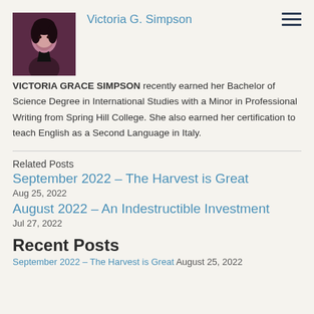[Figure (photo): Portrait photo of Victoria G. Simpson, woman with dark hair against dark background]
Victoria G. Simpson
VICTORIA GRACE SIMPSON recently earned her Bachelor of Science Degree in International Studies with a Minor in Professional Writing from Spring Hill College. She also earned her certification to teach English as a Second Language in Italy.
Related Posts
September 2022 – The Harvest is Great
Aug 25, 2022
August 2022 – An Indestructible Investment
Jul 27, 2022
Recent Posts
September 2022 – The Harvest is Great August 25, 2022